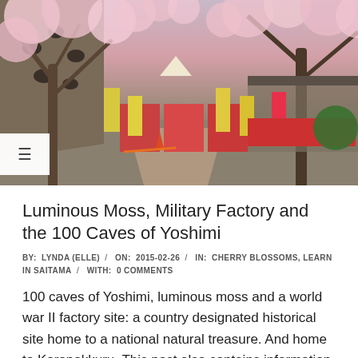[Figure (photo): Outdoor scene at Yoshimi Hyakuana (100 Caves) with cherry blossom trees in full bloom, vendor stalls with colorful signs and banners, stone hillside with cave openings, traditional Japanese festival market setting.]
Luminous Moss, Military Factory and the 100 Caves of Yoshimi
BY:  LYNDA (ELLE)  /   ON:  2015-02-26  /   IN:  CHERRY BLOSSOMS, LEARN IN SAITAMA  /   WITH:  0 COMMENTS
100 caves of Yoshimi, luminous moss and a world war II factory site: a country designated historical site home to a national natural treasure. And home to Koropokkuru. This post also contains information for the cherry blossoms in the area and the annual 100 Caves Sakura Matsuri (festival). Moreover, in